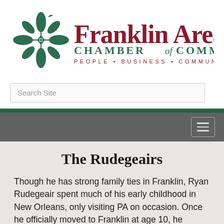[Figure (logo): Franklin Area Chamber of Commerce logo with decorative green floral/cross emblem and maroon text reading 'Franklin Area Chamber of Commerce — People • Business • Community']
Search Site
[Figure (other): Dark gray navigation bar with green stripe at top and a hamburger menu button on the right]
The Rudegeairs
Though he has strong family ties in Franklin, Ryan Rudegeair spent much of his early childhood in New Orleans, only visiting PA on occasion. Once he officially moved to Franklin at age 10, he attended St. Patrick's school and Franklin High School. After graduating from